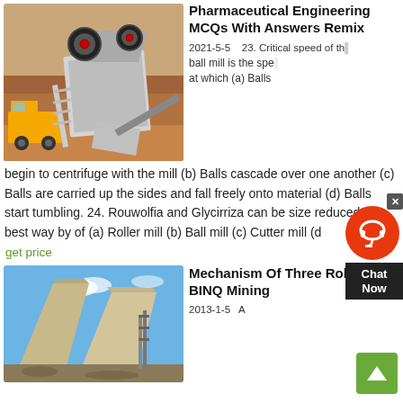[Figure (photo): Yellow heavy machinery/jaw crusher on a construction/mining site with red rocky terrain in background]
Pharmaceutical Engineering MCQs With Answers Remix
2021-5-5   23. Critical speed of the ball mill is the speed at which (a) Balls begin to centrifuge with the mill (b) Balls cascade over one another (c) Balls are carried up the sides and fall freely onto material (d) Balls start tumbling. 24. Rouwolfia and Glycirriza can be size reduced the best way by of (a) Roller mill (b) Ball mill (c) Cutter mill (d
get price
[Figure (photo): Large concrete or stone slabs/walls on a construction or mining site with blue sky background]
Mechanism Of Three Roller Mill BINQ Mining
2013-1-5   A